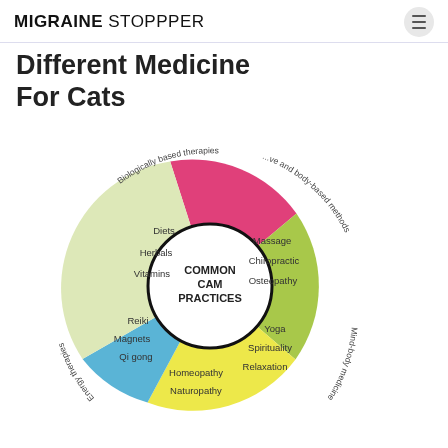MIGRAINE STOPPPER
Different Medicine For Cats
[Figure (pie-chart): COMMON CAM PRACTICES]